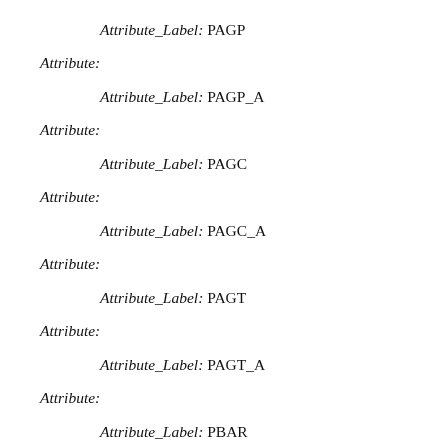Attribute_Label: PAGP
Attribute:
Attribute_Label: PAGP_A
Attribute:
Attribute_Label: PAGC
Attribute:
Attribute_Label: PAGC_A
Attribute:
Attribute_Label: PAGT
Attribute:
Attribute_Label: PAGT_A
Attribute:
Attribute_Label: PBAR